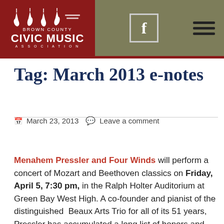Brown County Civic Music Association | Facebook icon | Menu
Tag: March 2013 e-notes
March 23, 2013  Leave a comment
Menahem Pressler and Four Winds will perform a concert of Mozart and Beethoven classics on Friday, April 5, 7:30 pm, in the Ralph Holter Auditorium at Green Bay West High. A co-founder and pianist of the distinguished Beaux Arts Trio for all of its 51 years, Pressler has accumulated a long list of honors and achievements spanning more than six decades. In 2011 the International Classical Music Awards